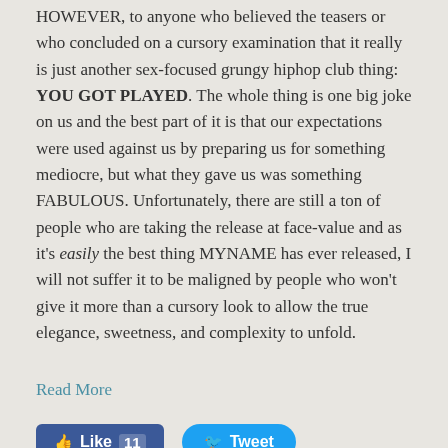HOWEVER, to anyone who believed the teasers or who concluded on a cursory examination that it really is just another sex-focused grungy hiphop club thing: YOU GOT PLAYED. The whole thing is one big joke on us and the best part of it is that our expectations were used against us by preparing us for something mediocre, but what they gave us was something FABULOUS. Unfortunately, there are still a ton of people who are taking the release at face-value and as it's easily the best thing MYNAME has ever released, I will not suffer it to be maligned by people who won't give it more than a cursory look to allow the true elegance, sweetness, and complexity to unfold.
Read More
[Figure (other): Social media buttons: Facebook Like (11) and Twitter Tweet]
3 Comments
Come check out my Patreon Page for the latest updates and insider exclusives!
If you have Questions about my Terminology, Bias Bands, or any other FAQ click HERE.